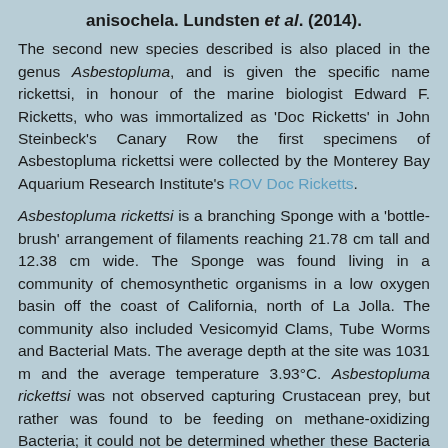anisochela. Lundsten et al. (2014).
The second new species described is also placed in the genus Asbestopluma, and is given the specific name rickettsi, in honour of the marine biologist Edward F. Ricketts, who was immortalized as 'Doc Ricketts' in John Steinbeck's Canary Row the first specimens of Asbestopluma rickettsi were collected by the Monterey Bay Aquarium Research Institute's ROV Doc Ricketts.
Asbestopluma rickettsi is a branching Sponge with a 'bottle-brush' arrangement of filaments reaching 21.78 cm tall and 12.38 cm wide. The Sponge was found living in a community of chemosynthetic organisms in a low oxygen basin off the coast of California, north of La Jolla. The community also included Vesicomyid Clams, Tube Worms and Bacterial Mats. The average depth at the site was 1031 m and the average temperature 3.93°C. Asbestopluma rickettsi was not observed capturing Crustacean prey, but rather was found to be feeding on methane-oxidizing Bacteria; it could not be determined whether these Bacteria were symbionts (living within the tissues of the Sponge) or were being ingested and